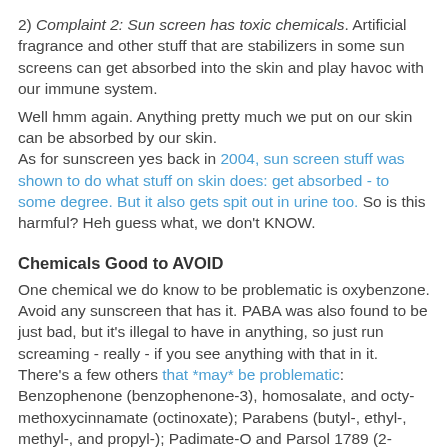2) Complaint 2: Sun screen has toxic chemicals. Artificial fragrance and other stuff that are stabilizers in some sun screens can get absorbed into the skin and play havoc with our immune system.
Well hmm again. Anything pretty much we put on our skin can be absorbed by our skin.
As for sunscreen yes back in 2004, sun screen stuff was shown to do what stuff on skin does: get absorbed - to some degree. But it also gets spit out in urine too. So is this harmful? Heh guess what, we don't KNOW.
Chemicals Good to AVOID
One chemical we do know to be problematic is oxybenzone. Avoid any sunscreen that has it. PABA was also found to be just bad, but it's illegal to have in anything, so just run screaming - really - if you see anything with that in it. There's a few others that *may* be problematic: Benzophenone (benzophenone-3), homosalate, and octy-methoxycinnamate (octinoxate); Parabens (butyl-, ethyl-, methyl-, and propyl-); Padimate-O and Parsol 1789 (2-ethylhexyl-4-dimethylaminobenzoic acid and avobenzone).